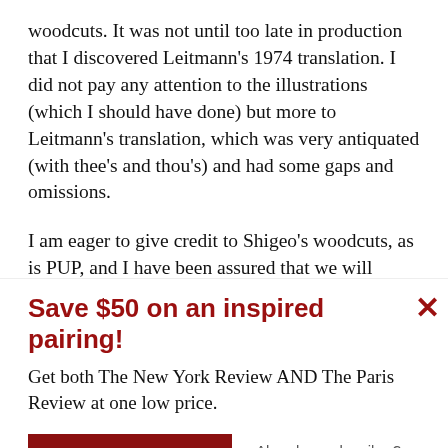woodcuts. It was not until too late in production that I discovered Leitmann's 1974 translation. I did not pay any attention to the illustrations (which I should have done) but more to Leitmann's translation, which was very antiquated (with thee's and thou's) and had some gaps and omissions.
I am eager to give credit to Shigeo's woodcuts, as is PUP, and I have been assured that we will
Save $50 on an inspired pairing!
Get both The New York Review AND The Paris Review at one low price.
See offer    Already a subscriber?  Sign in